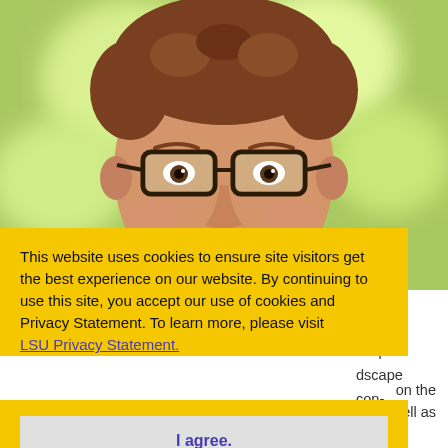[Figure (photo): Headshot of a smiling man with glasses and reddish-brown hair, wearing a blue and white striped shirt, with a blurred green outdoor background]
This website uses cookies to ensure site visitors get the best experience on our website. By continuing to use this site, you accept our use of cookies and Privacy Statement. To learn more, please visit LSU Privacy Statement.
I agree.
...scape ...dscape ...con- ...nd ...and ...on the ...ell as the LA Tech Enterprise Campus Master Plan. D'Agostino's